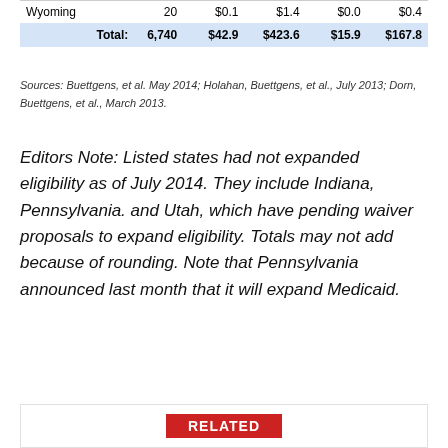|  |  | $0.1 | $1.4 | $0.0 | $0.4 |
| --- | --- | --- | --- | --- | --- |
| Wyoming | 20 | $0.1 | $1.4 | $0.0 | $0.4 |
| Total: | 6,740 | $42.9 | $423.6 | $15.9 | $167.8 |
Sources: Buettgens, et al. May 2014; Holahan, Buettgens, et al., July 2013; Dorn, Buettgens, et al., March 2013.
Editors Note: Listed states had not expanded eligibility as of July 2014. They include Indiana, Pennsylvania. and Utah, which have pending waiver proposals to expand eligibility. Totals may not add because of rounding. Note that Pennsylvania announced last month that it will expand Medicaid.
RELATED